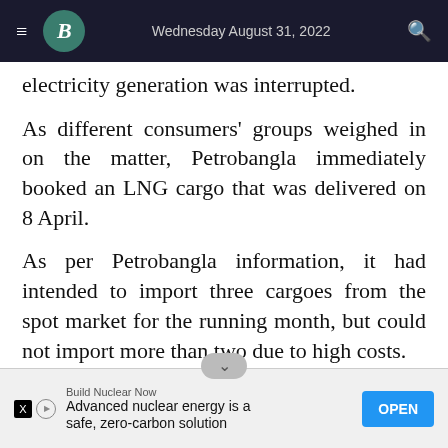Wednesday August 31, 2022
electricity generation was interrupted.
As different consumers' groups weighed in on the matter, Petrobangla immediately booked an LNG cargo that was delivered on 8 April.
As per Petrobangla information, it had intended to import three cargoes from the spot market for the running month, but could not import more than two due to high costs.
The latest LNG cargo from the spot market cost $36 per metric million British thermal unit (mmBtu)